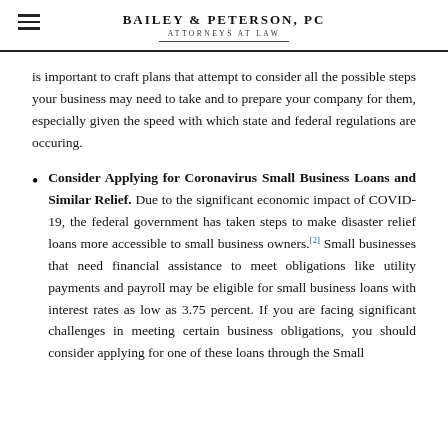BAILEY & PETERSON, PC
ATTORNEYS AT LAW
is important to craft plans that attempt to consider all the possible steps your business may need to take and to prepare your company for them, especially given the speed with which state and federal regulations are occuring.
Consider Applying for Coronavirus Small Business Loans and Similar Relief. Due to the significant economic impact of COVID-19, the federal government has taken steps to make disaster relief loans more accessible to small business owners.[2] Small businesses that need financial assistance to meet obligations like utility payments and payroll may be eligible for small business loans with interest rates as low as 3.75 percent. If you are facing significant challenges in meeting certain business obligations, you should consider applying for one of these loans through the Small